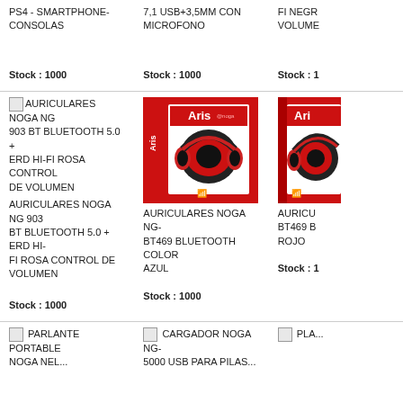PS4 - SMARTPHONE-CONSOLAS
Stock : 1000
7,1 USB+3,5MM CON MICROFONO
Stock : 1000
FI NEGR... VOLUME...
Stock : 1...
[Figure (photo): Small broken image icon placeholder for AURICULARES NOGA NG 903 BT BLUETOOTH 5.0 + ERD HI-FI ROSA CONTROL DE VOLUMEN]
AURICULARES NOGA NG 903 BT BLUETOOTH 5.0 + ERD HI-FI ROSA CONTROL DE VOLUMEN
Stock : 1000
[Figure (photo): Product photo of Aris headphones in red box - AURICULARES NOGA NG-BT469 BLUETOOTH COLOR AZUL]
AURICULARES NOGA NG-BT469 BLUETOOTH COLOR AZUL
Stock : 1000
[Figure (photo): Product photo partial of Aris headphones in red box - AURICULARES NOGA NG-BT469 B... ROJO]
AURICU... BT469 B... ROJO
Stock : 1...
[Figure (photo): Small broken image icon for PARLANTE PORTABLE NOGA...]
PARLANTE PORTABLE NOGA NEL...
[Figure (photo): Small broken image icon for CARGADOR NOGA NG-5000 USB PARA PILAS...]
CARGADOR NOGA NG-5000 USB PARA PILAS...
[Figure (photo): Partial image PLA...]